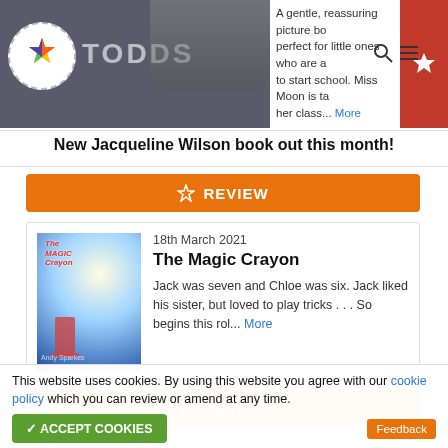[Figure (screenshot): Top navigation banner with colorful star logo, 'TODDS' text, partial book description text, search and menu icons, and red star button on right]
New Jacqueline Wilson book out this month!
[Figure (other): Orange REVIEW button with star icon]
18th March 2021
The Magic Crayon
[Figure (illustration): Book cover of The Magic Crayon showing a girl and magical white creature on blue background]
Jack was seven and Chloe was six. Jack liked his sister, but loved to play tricks . . . So begins this rol... More
(5 reviews)
[Figure (other): Orange REVIEW button with star icon (second instance, partially visible)]
This website uses cookies. By using this website you agree with our cookie policy which you can review or amend at any time.
ACCEPT COOKIES
Feedback